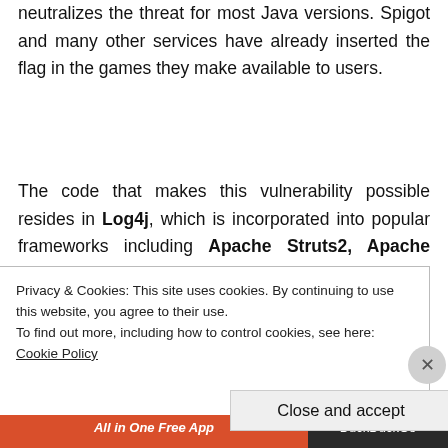neutralizes the threat for most Java versions. Spigot and many other services have already inserted the flag in the games they make available to users.
The code that makes this vulnerability possible resides in Log4j, which is incorporated into popular frameworks including Apache Struts2, Apache Solr, Apache Druid, and Apache Flink. This means that a dizzying number of third-party apps can also be vulnerable to exploits that have
Privacy & Cookies: This site uses cookies. By continuing to use this website, you agree to their use.
To find out more, including how to control cookies, see here: Cookie Policy
Close and accept
[Figure (other): Advertisement bar at bottom: red section with 'All in One Free App' and dark section with 'DuckDuckGo']